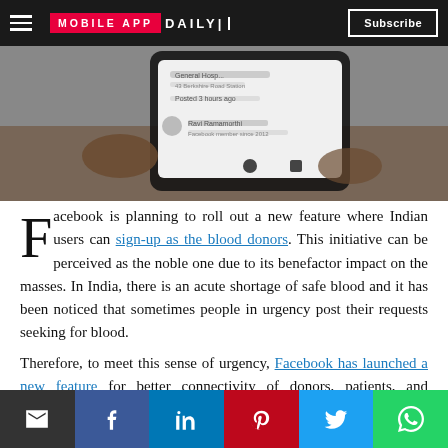MOBILE APP DAILY | Subscribe
[Figure (photo): Hand holding a smartphone displaying a Facebook blood donor request interface]
Facebook is planning to roll out a new feature where Indian users can sign-up as the blood donors. This initiative can be perceived as the noble one due to its benefactor impact on the masses. In India, there is an acute shortage of safe blood and it has been noticed that sometimes people in urgency post their requests seeking for blood.
Therefore, to meet this sense of urgency, Facebook has launched a new feature for better connectivity of donors, patients, and hospitals. Hence, when there will be a request post for blood, it'll be notifi
[Figure (infographic): Social share buttons row: email, Facebook, LinkedIn, Pinterest, Twitter, WhatsApp]